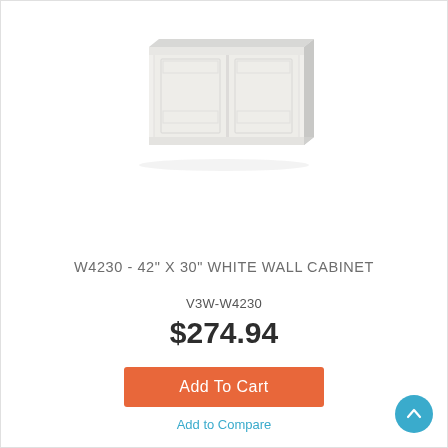[Figure (photo): White wall cabinet with two doors and shaker-style panel fronts, shown in a product photo perspective view.]
W4230 - 42" X 30" WHITE WALL CABINET
V3W-W4230
$274.94
Add To Cart
Add to Compare